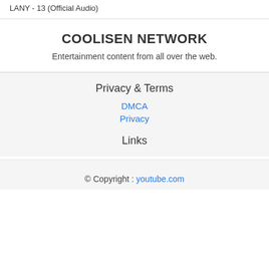LANY - 13 (Official Audio)
COOLISEN NETWORK
Entertainment content from all over the web.
Privacy & Terms
DMCA
Privacy
Links
© Copyright : youtube.com